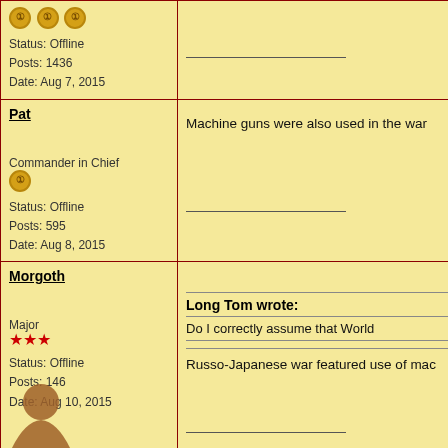| User Info | Post Content |
| --- | --- |
| [coins x3]
Status: Offline
Posts: 1436
Date: Aug 7, 2015 | [separator line] |
| Pat
Commander in Chief
[coin]
Status: Offline
Posts: 595
Date: Aug 8, 2015 | Machine guns were also used in the war
[separator line] |
| Morgoth
Major
[3 stars]
Status: Offline
Posts: 146
Date: Aug 10, 2015 | Long Tom wrote:
[separator]
Do I correctly assume that World
[separator]
Russo-Japanese war featured use of mac
[separator]
... |